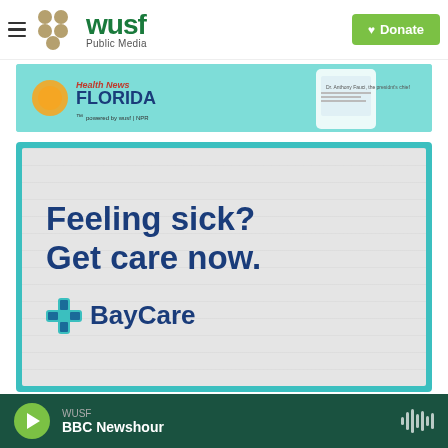WUSF Public Media — Donate
[Figure (logo): Health News Florida advertisement banner with teal background and smartphone image]
[Figure (other): BayCare advertisement: 'Feeling sick? Get care now.' with BayCare logo on a gray textured background inside teal border]
WUSF — BBC Newshour (audio player bar)